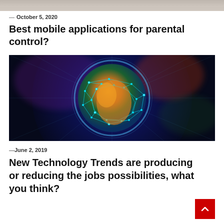[Figure (photo): Partial image at top of page, appears to be a bed or bedroom scene, cropped]
— October 5, 2020
Best mobile applications for parental control?
[Figure (photo): Digital globe surrounded by network connections and glowing nodes on a dark blue cosmic background]
— June 2, 2019
New Technology Trends are producing or reducing the jobs possibilities, what you think?